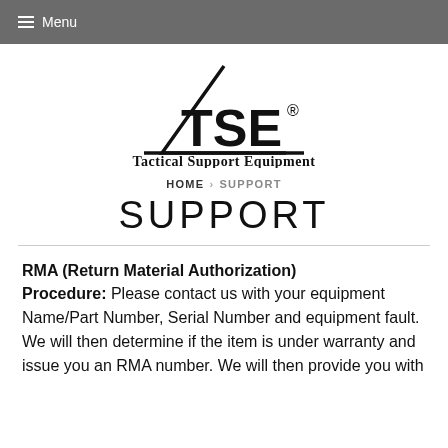≡ Menu
[Figure (logo): TSE Tactical Support Equipment logo with triangle outline and bold TSE text with registered trademark symbol]
HOME › SUPPORT
SUPPORT
RMA (Return Material Authorization)
Procedure:  Please contact us with your equipment Name/Part Number, Serial Number and equipment fault. We will then determine if the item is under warranty and issue you an RMA number. We will then provide you with